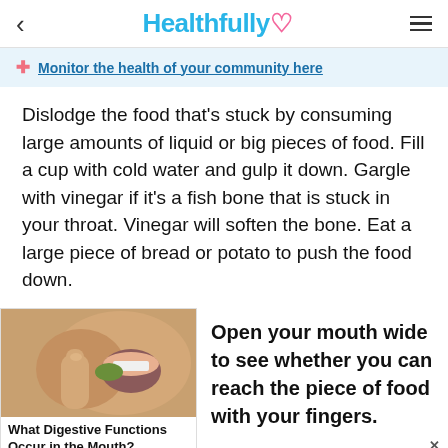Healthfully
Monitor the health of your community here
Dislodge the food that's stuck by consuming large amounts of liquid or big pieces of food. Fill a cup with cold water and gulp it down. Gargle with vinegar if it's a fish bone that is stuck in your throat. Vinegar will soften the bone. Eat a large piece of bread or potato to push the food down.
[Figure (photo): Close-up photo of a person putting a piece of food into their mouth with their fingers]
What Digestive Functions Occur in the Mouth?
Open your mouth wide to see whether you can reach the piece of food with your fingers.